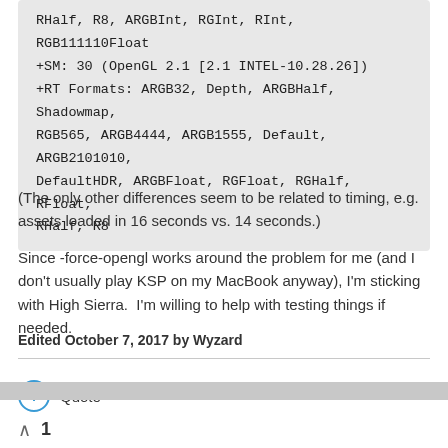RHalf, R8, ARGBInt, RGInt, RInt, RGB111110Float
+SM: 30 (OpenGL 2.1 [2.1 INTEL-10.28.26])
+RT Formats: ARGB32, Depth, ARGBHalf, Shadowmap,
RGB565, ARGB4444, ARGB1555, Default, ARGB2101010,
DefaultHDR, ARGBFloat, RGFloat, RGHalf, RFloat,
RHalf, R8
(The only other differences seem to be related to timing, e.g. assets loaded in 16 seconds vs. 14 seconds.)
Since -force-opengl works around the problem for me (and I don't usually play KSP on my MacBook anyway), I'm sticking with High Sierra.  I'm willing to help with testing things if needed.
Edited October 7, 2017 by Wyzard